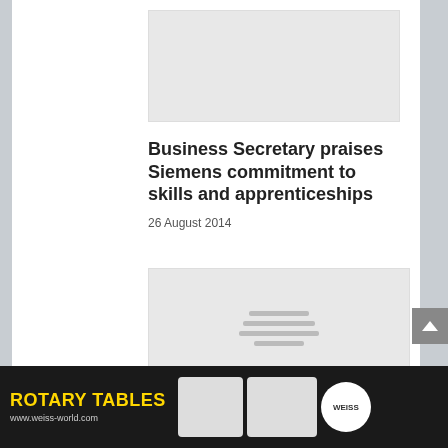[Figure (photo): Top image placeholder area, light gray]
Business Secretary praises Siemens commitment to skills and apprenticeships
26 August 2014
[Figure (photo): Second image placeholder with loading indicator lines]
[Figure (photo): Advertisement banner for Weiss Rotary Tables showing rotary table products and logo, with text ROTARY TABLES and www.weiss-world.com]